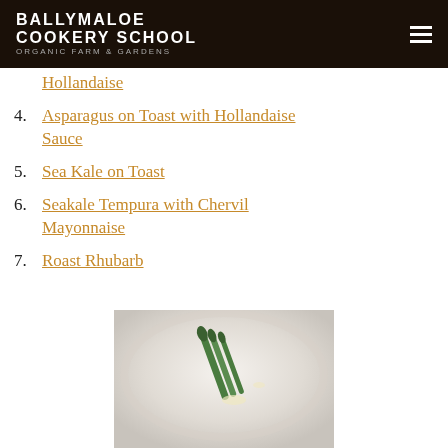BALLYMALOE COOKERY SCHOOL ORGANIC FARM & GARDENS
Hollandaise
4. Asparagus on Toast with Hollandaise Sauce
5. Sea Kale on Toast
6. Seakale Tempura with Chervil Mayonnaise
7. Roast Rhubarb
[Figure (photo): Close-up photo of asparagus spears on a white plate with hollandaise sauce]